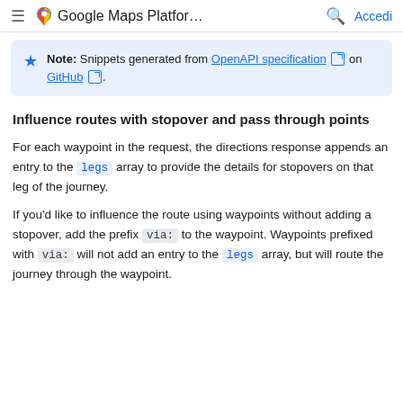Google Maps Platfor... Accedi
Note: Snippets generated from OpenAPI specification on GitHub.
Influence routes with stopover and pass through points
For each waypoint in the request, the directions response appends an entry to the legs array to provide the details for stopovers on that leg of the journey.
If you'd like to influence the route using waypoints without adding a stopover, add the prefix via: to the waypoint. Waypoints prefixed with via: will not add an entry to the legs array, but will route the journey through the waypoint.